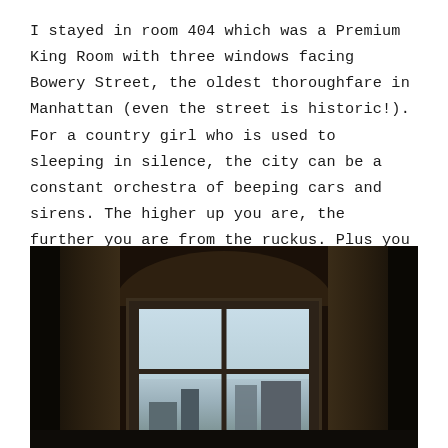I stayed in room 404 which was a Premium King Room with three windows facing Bowery Street, the oldest thoroughfare in Manhattan (even the street is historic!). For a country girl who is used to sleeping in silence, the city can be a constant orchestra of beeping cars and sirens. The higher up you are, the further you are from the ruckus. Plus you have a better view.
[Figure (photo): Dark interior photograph taken from inside a hotel room looking out through a large window with curtains on either side. The window frames a view of Manhattan buildings and construction under a blue sky. The room is dim with heavy dark curtains and an arched ceiling visible.]